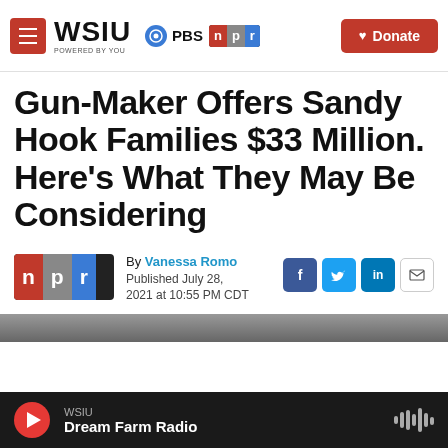[Figure (logo): WSIU website header with WSIU logo, PBS and NPR badges, and a Donate button]
Gun-Maker Offers Sandy Hook Families $33 Million. Here's What They May Be Considering
By Vanessa Romo
Published July 28, 2021 at 10:55 PM CDT
[Figure (logo): NPR logo large]
[Figure (screenshot): Bottom audio player bar: WSIU / Dream Farm Radio with play button and audio wave icon]